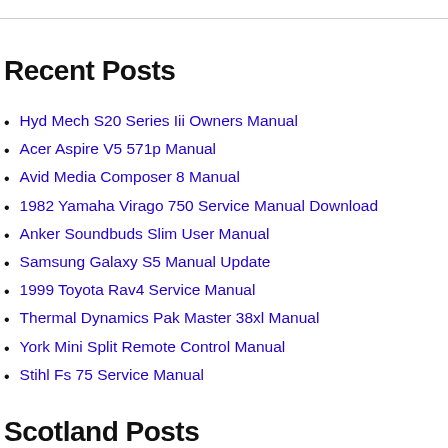Recent Posts
Hyd Mech S20 Series Iii Owners Manual
Acer Aspire V5 571p Manual
Avid Media Composer 8 Manual
1982 Yamaha Virago 750 Service Manual Download
Anker Soundbuds Slim User Manual
Samsung Galaxy S5 Manual Update
1999 Toyota Rav4 Service Manual
Thermal Dynamics Pak Master 38xl Manual
York Mini Split Remote Control Manual
Stihl Fs 75 Service Manual
Scotland Posts